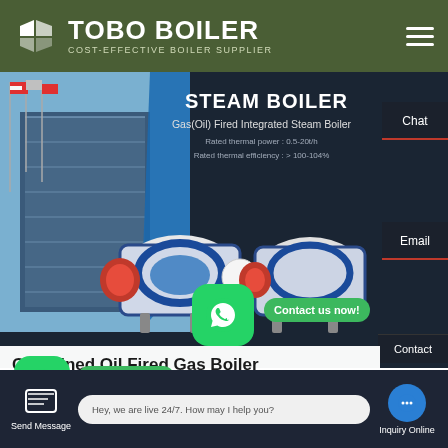[Figure (logo): TOBO BOILER logo with green background, white geometric icon and white bold text, subtitle COST-EFFECTIVE BOILER SUPPLIER]
[Figure (photo): Screenshot of Tobo Boiler website showing steam boiler product page with building photo on left, two gas fired steam boilers in center, product specs overlay, and side chat/email buttons]
STEAM BOILER
Gas(Oil) Fired Integrated Steam Boiler
Rated thermal power : 0.5-20t/h
Rated thermal efficiency : > 100-104%
Chat
Email
Contact us now!
Combined Oil Fired Gas Boiler
Contact us now!
Hey, we are live 24/7. How may I help you?
Send Message
Inquiry Online
Contact